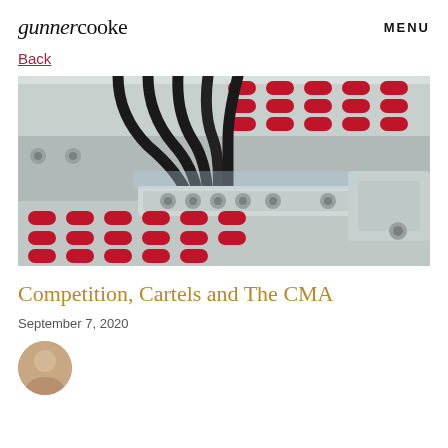gunnercooke  MENU
Back
[Figure (photo): Close-up of pharmaceutical capsule filling machine with red capsules in blister trays and black tubes/hoses connected to metallic manifold hardware]
Competition, Cartels and The CMA
September 7, 2020
[Figure (photo): Author avatar/portrait photo, partially visible at bottom of page]